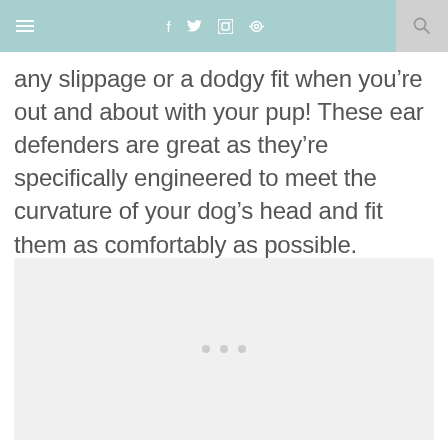≡   f  🐦  📷  ®   🔍
any slippage or a dodgy fit when you're out and about with your pup! These ear defenders are great as they're specifically engineered to meet the curvature of your dog's head and fit them as comfortably as possible.
[Figure (photo): Image placeholder with loading dots, light grey background rectangle]